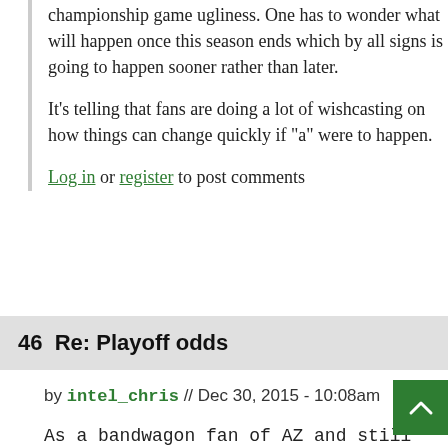championship game ugliness. One has to wonder what will happen once this season ends which by all signs is going to happen sooner rather than later.
It's telling that fans are doing a lot of wishcasting on how things can change quickly if "a" were to happen.
Log in or register to post comments
46  Re: Playoff odds
by intel_chris // Dec 30, 2015 - 10:08am
As a bandwagon fan of AZ and still fan of DEN, I'd be curious about the odds of a "Plummer memorial bowl" between AZ and DEN.